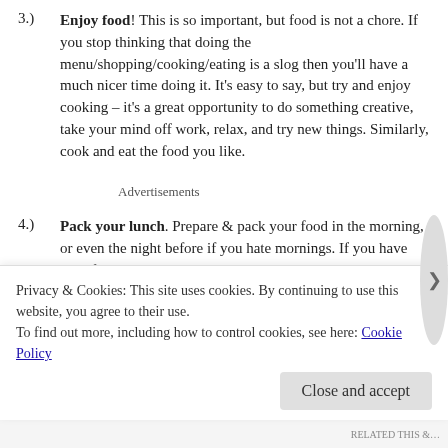3.) Enjoy food! This is so important, but food is not a chore. If you stop thinking that doing the menu/shopping/cooking/eating is a slog then you'll have a much nicer time doing it. It's easy to say, but try and enjoy cooking – it's a great opportunity to do something creative, take your mind off work, relax, and try new things. Similarly, cook and eat the food you like.
Advertisements
4.) Pack your lunch. Prepare & pack your food in the morning, or even the night before if you hate mornings. If you have your food with you you'll save money and eat better.
1. Bonus extra point: If possible have a hot lunch/brunch at uni. If you have
Privacy & Cookies: This site uses cookies. By continuing to use this website, you agree to their use. To find out more, including how to control cookies, see here: Cookie Policy
Close and accept